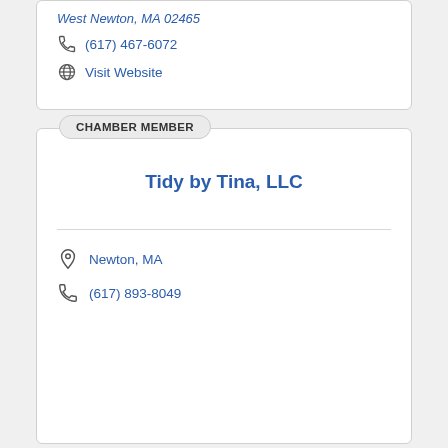West Newton, MA 02465
(617) 467-6072
Visit Website
CHAMBER MEMBER
Tidy by Tina, LLC
Newton, MA
(617) 893-8049